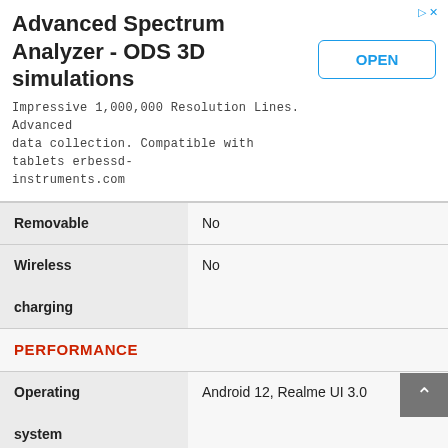[Figure (other): Advertisement banner: Advanced Spectrum Analyzer - ODS 3D simulations. Impressive 1,000,000 Resolution Lines. Advanced data collection. Compatible with tablets erbessd-instruments.com. With OPEN button.]
| Feature | Value |
| --- | --- |
| Removable | No |
| Wireless charging | No |
| PERFORMANCE |  |
| Operating system | Android 12, Realme UI 3.0 |
| Processor | MediaTek MT6833P Dimensity 810 (6 nm) |
[Figure (other): Advertisement banner bottom: Advanced Spectrum Analyzer (partially visible)]